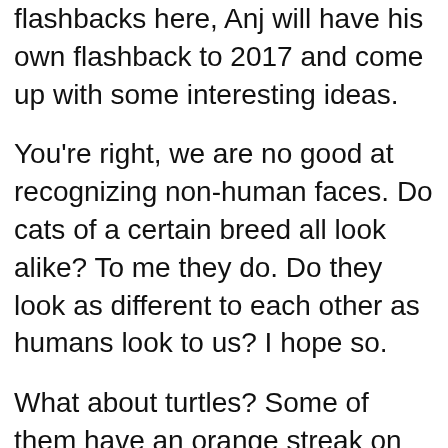flashbacks here, Anj will have his own flashback to 2017 and come up with some interesting ideas.
You're right, we are no good at recognizing non-human faces. Do cats of a certain breed all look alike? To me they do. Do they look as different to each other as humans look to us? I hope so.
What about turtles? Some of them have an orange streak on their faces, that helps.
We should have a crossover team up of Superwoman, Batgirl and the Amazing Mary Jane – call them the Red Revengers or something.